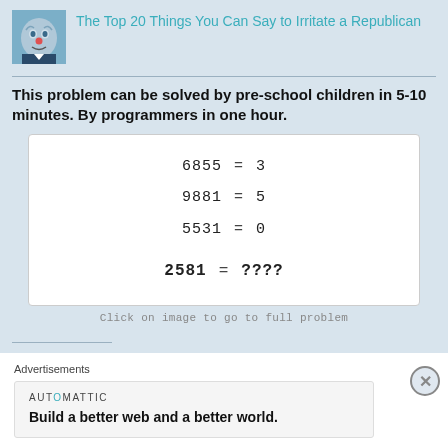[Figure (photo): Small thumbnail photo of a person wearing a clown mask with blue face paint and red nose]
The Top 20 Things You Can Say to Irritate a Republican
This problem can be solved by pre-school children in 5-10 minutes. By programmers in one hour.
[Figure (other): Puzzle box showing: 6855 = 3, 9881 = 5, 5531 = 0, 2581 = ????]
Click on image to go to full problem
Advertisements
[Figure (other): Advertisement: AUTOMATTIC logo with tagline 'Build a better web and a better world.']